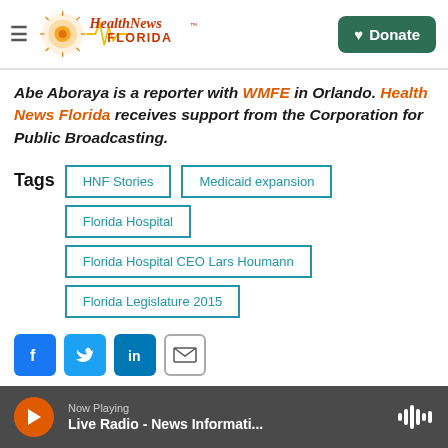Health News Florida — Navigation header with Donate button
Abe Aboraya is a reporter with WMFE in Orlando. Health News Florida receives support from the Corporation for Public Broadcasting.
Tags: HNF Stories | Medicaid expansion | Florida Hospital | Florida Hospital CEO Lars Houmann | Florida Legislature 2015
[Figure (other): Social sharing buttons: Facebook, Twitter, LinkedIn, Email]
Now Playing — Live Radio - News Informati...